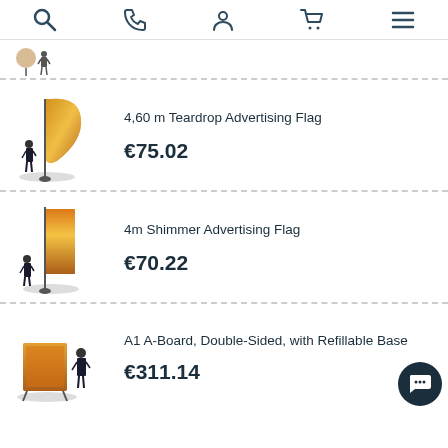Navigation bar with search, phone, account, cart, and menu icons
[Figure (photo): Small product thumbnail of an advertising flag at top]
4,60 m Teardrop Advertising Flag
€75.02
[Figure (photo): Photo of 4,60 m teardrop advertising flag with woman for scale]
4m Shimmer Advertising Flag
€70.22
[Figure (photo): Photo of 4m shimmer advertising flag with woman for scale]
A1 A-Board, Double-Sided, with Refillable Base
€311.14
[Figure (photo): Photo of A1 A-Board double-sided with woman for scale]